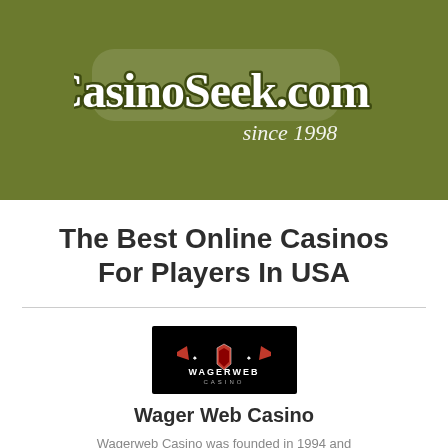[Figure (logo): CasinoSeek.com since 1998 logo on olive/dark yellow-green background]
The Best Online Casinos For Players In USA
[Figure (logo): WagerWeb Casino logo - dark background with red and white wing/card symbol and WAGERWEB CASINO text]
Wager Web Casino
Wagerweb Casino was founded in 1994 and